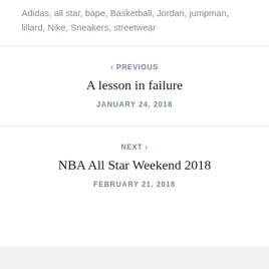Adidas, all star, bape, Basketball, Jordan, jumpman, lillard, Nike, Sneakers, streetwear
< PREVIOUS
A lesson in failure
JANUARY 24, 2018
NEXT >
NBA All Star Weekend 2018
FEBRUARY 21, 2018